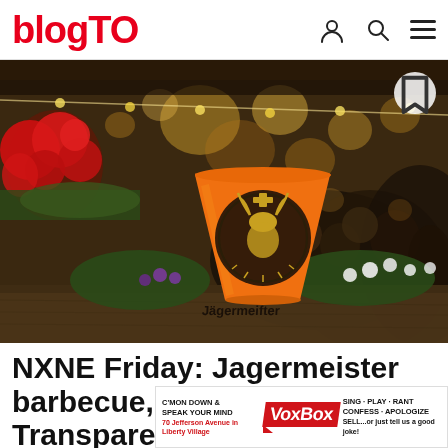blogTO
[Figure (photo): An orange Jagermeister branded plastic cup on a table surrounded by flowers, with a blurred crowd and string lights in a festive outdoor setting in the background.]
NXNE Friday: Jagermeister barbecue, Amos The Transparent Bl...
[Figure (other): Advertisement banner for VoxBox at 70 Jefferson Avenue in Liberty Village. Text: C'MON DOWN & SPEAK YOUR MIND | VoxBox | SING · PLAY · RANT CONFESS · APOLOGIZE SELL...or just tell us a good joke!]